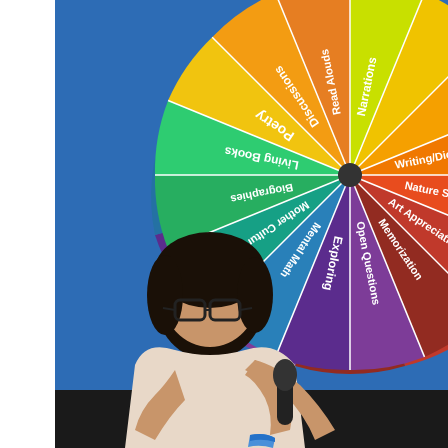[Figure (photo): A woman with short black hair and glasses holds a microphone and speaks in front of a large colorful spinning wheel display. The wheel has multiple colored segments labeled with educational topics: Narrations, Read Alouds, Discussions, Poetry, Living Books, Biographies, Mother Culture, Mental Math, Exploring, Open Questions, Memorization, Art Appreciation, Nature Study, Writing/Dictating. The background is bright blue.]